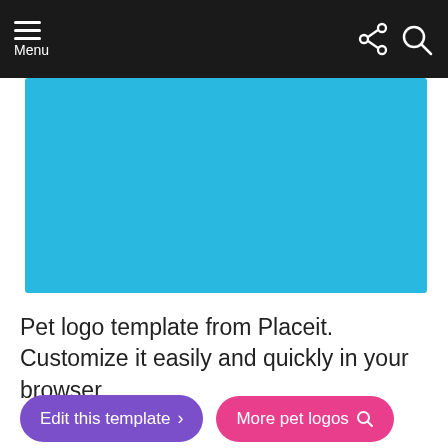Menu
[Figure (illustration): Blue rectangular banner image placeholder from Placeit]
Pet logo template from Placeit. Customize it easily and quickly in your browser.
Edit this template > | More pet logos
#35 Animal Logo Template (Design Evo)